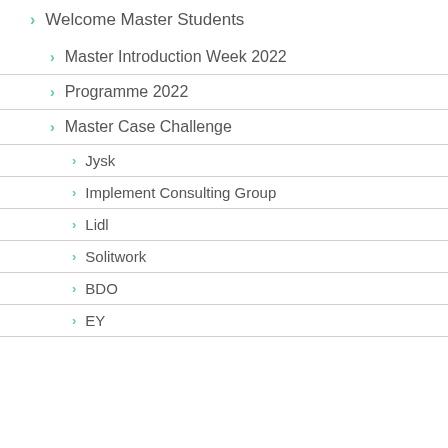Welcome Master Students
Master Introduction Week 2022
Programme 2022
Master Case Challenge
Jysk
Implement Consulting Group
Lidl
Solitwork
BDO
EY